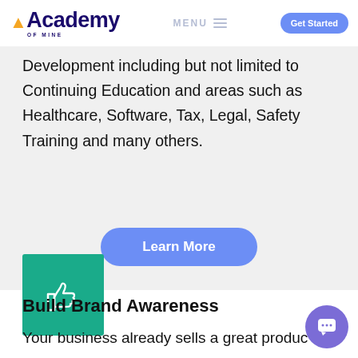Academy of Mine — MENU — Get Started
Development including but not limited to Continuing Education and areas such as Healthcare, Software, Tax, Legal, Safety Training and many others.
Learn More
[Figure (illustration): Teal green square icon with a white thumbs-up hand icon in the center]
Build Brand Awareness
Your business already sells a great product or a service. We help you take it to your customers, partners, and users and help